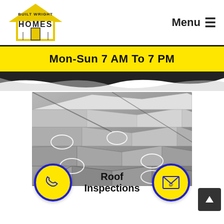[Figure (logo): Built Wright Homes logo — yellow house outline with text BUILT WRIGHT HOMES]
Menu ☰
Mon-Sun 7 AM To 7 PM
[Figure (photo): Black and white close-up photograph of roofing shingles with chalk circle marks indicating damage or inspection points]
Roof Inspections